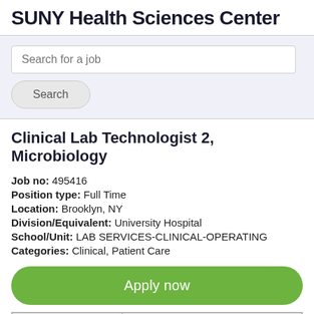SUNY Health Sciences Center
Search for a job
Search
Clinical Lab Technologist 2, Microbiology
Job no: 495416
Position type: Full Time
Location: Brooklyn, NY
Division/Equivalent: University Hospital
School/Unit: LAB SERVICES-CLINICAL-OPERATING
Categories: Clinical, Patient Care
Apply now
|  | Are you looking to take your career to new |